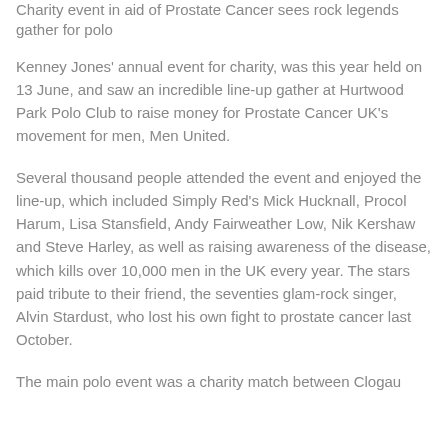Charity event in aid of Prostate Cancer sees rock legends gather for polo
Kenney Jones' annual event for charity, was this year held on 13 June, and saw an incredible line-up gather at Hurtwood Park Polo Club to raise money for Prostate Cancer UK's movement for men, Men United.
Several thousand people attended the event and enjoyed the line-up, which included Simply Red's Mick Hucknall, Procol Harum, Lisa Stansfield, Andy Fairweather Low, Nik Kershaw and Steve Harley, as well as raising awareness of the disease, which kills over 10,000 men in the UK every year. The stars paid tribute to their friend, the seventies glam-rock singer, Alvin Stardust, who lost his own fight to prostate cancer last October.
The main polo event was a charity match between Clogau